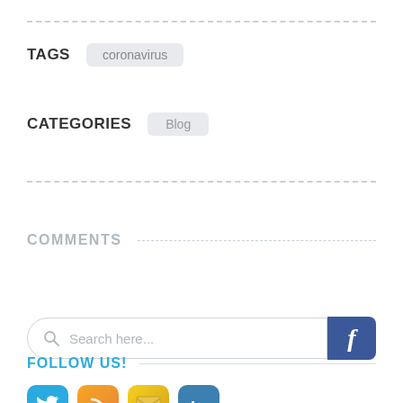TAGS
coronavirus
CATEGORIES
Blog
COMMENTS
[Figure (screenshot): Search box with magnifying glass icon and placeholder text 'Search here...' next to a Facebook button with 'f' logo]
FOLLOW US!
[Figure (illustration): Row of social media icons: Twitter (blue bird), RSS (orange), Email (gold envelope), LinkedIn (blue)]